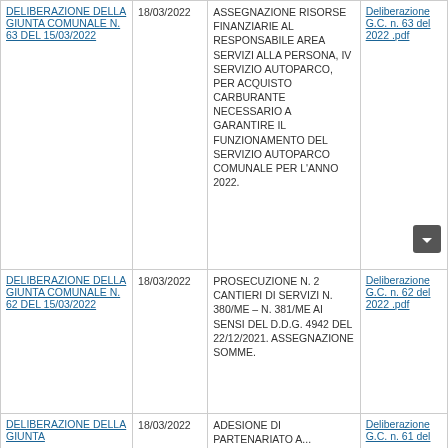| Deliberazione | Data | Oggetto | Allegato |
| --- | --- | --- | --- |
| DELIBERAZIONE DELLA GIUNTA COMUNALE N. 63 DEL 15/03/2022 | 18/03/2022 | ASSEGNAZIONE RISORSE FINANZIARIE AL RESPONSABILE AREA SERVIZI ALLA PERSONA, IV SERVIZIO AUTOPARCO, PER ACQUISTO CARBURANTE NECESSARIO A GARANTIRE IL FUNZIONAMENTO DEL SERVIZIO AUTOPARCO COMUNALE PER L'ANNO 2022. | Deliberazione G.C. n. 63 del 2022 .pdf |
| DELIBERAZIONE DELLA GIUNTA COMUNALE N. 62 DEL 15/03/2022 | 18/03/2022 | PROSECUZIONE N. 2 CANTIERI DI SERVIZI N. 380/ME – N. 381/ME AI SENSI DEL D.D.G. 4942 DEL 22/12/2021. ASSEGNAZIONE SOMME. | Deliberazione G.C. n. 62 del 2022 .pdf |
| DELIBERAZIONE DELLA GIUNTA | 18/03/2022 | ADESIONE DI PARTENARIATO A... | Deliberazione G.C. n. 61 del |